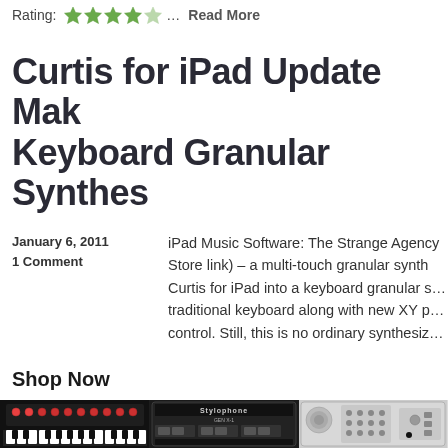Rating: ★★★★☆… Read More
Curtis for iPad Update Makes Keyboard Granular Synthesis
January 6, 2011
1 Comment
iPad Music Software: The Strange Agency (App Store link) – a multi-touch granular synth – turns Curtis for iPad into a keyboard granular s… traditional keyboard along with new XY p… control. Still, this is no ordinary synthesiz…
Shop Now
[Figure (photo): Black synthesizer keyboard product image]
[Figure (photo): Stylophone Gen X-1 product image]
[Figure (photo): Electronic instrument product image]